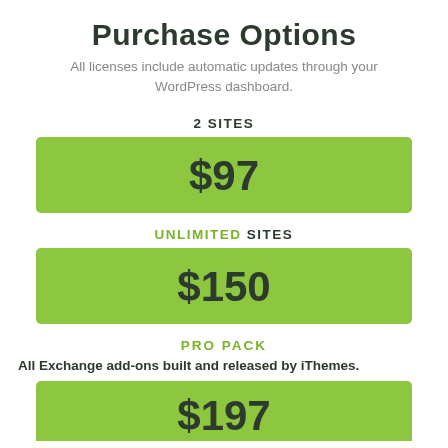Purchase Options
All licenses include automatic updates through your WordPress dashboard.
2 SITES
$97
UNLIMITED SITES
$150
PRO PACK
All Exchange add-ons built and released by iThemes.
$197